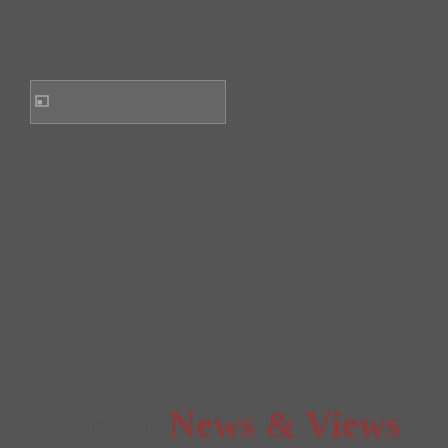[Figure (photo): Author photo placeholder for Polly Dunning - broken image icon]
by Polly Dunning
[Figure (other): Twitter bird icon]
Polly Dunning is an educator and writer.
More in News & Views